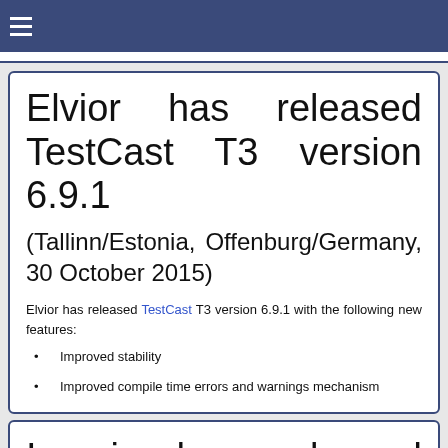Elvior has released TestCast T3 version 6.9.1
(Tallinn/Estonia, Offenburg/Germany, 30 October 2015)
Elvior has released TestCast T3 version 6.9.1 with the following new features:
Improved stability
Improved compile time errors and warnings mechanism
Imagix has released Imagix 4D version 8.1